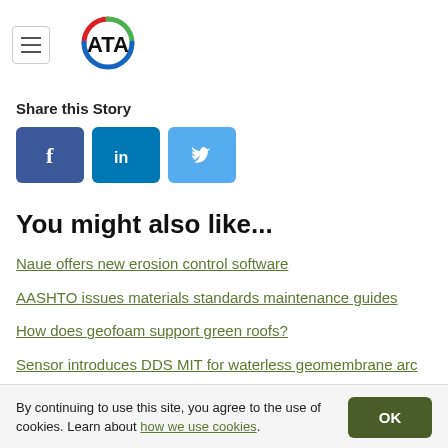[Figure (logo): ATA logo with hamburger menu icon. Circular logo with red top arc, green right arc, blue bottom arc, and black ATA text.]
Share this Story
[Figure (infographic): Three social media share buttons: Facebook (dark blue, f icon), LinkedIn (teal, in icon), Twitter (light blue, bird icon)]
You might also like...
Naue offers new erosion control software
AASHTO issues materials standards maintenance guides
How does geofoam support green roofs?
Sensor introduces DDS MIT for waterless geomembrane arc
By continuing to use this site, you agree to the use of cookies. Learn about how we use cookies.